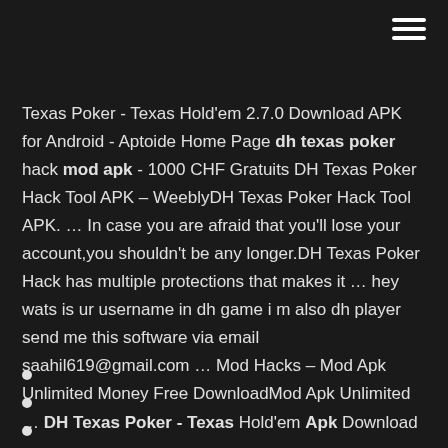Texas Poker - Texas Hold'em 2.7.0 Download APK for Android - Aptoide Home Page dh texas poker hack mod apk - 1000 CHF Gratuits DH Texas Poker Hack Tool APK – WeeblyDH Texas Poker Hack Tool APK. … In case you are afraid that you'll lose your account,you shouldn't be any longer.DH Texas Poker Hack has multiple protections that makes it … hey wats is ur username in dh game i m also dh player send me this software via email saahil619@gmail.com … Mod Hacks – Mod Apk Unlimited Money Free DownloadMod Apk Unlimited … DH Texas Poker - Texas Hold'em Apk Download